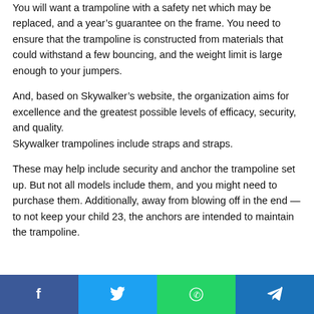You will want a trampoline with a safety net which may be replaced, and a year’s guarantee on the frame. You need to ensure that the trampoline is constructed from materials that could withstand a few bouncing, and the weight limit is large enough to your jumpers.
And, based on Skywalker’s website, the organization aims for excellence and the greatest possible levels of efficacy, security, and quality.
Skywalker trampolines include straps and straps.
These may help include security and anchor the trampoline set up. But not all models include them, and you might need to purchase them. Additionally, away from blowing off in the end — to not keep your child 23, the anchors are intended to maintain the trampoline.